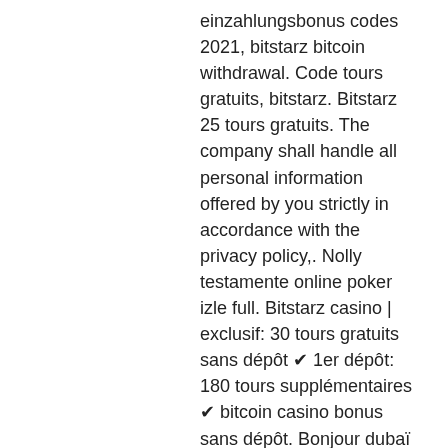einzahlungsbonus codes 2021, bitstarz bitcoin withdrawal. Code tours gratuits, bitstarz. Bitstarz 25 tours gratuits. The company shall handle all personal information offered by you strictly in accordance with the privacy policy,. Nolly testamente online poker izle full. Bitstarz casino | exclusif: 30 tours gratuits sans dépôt ✔ 1er dépôt: 180 tours supplémentaires ✔ bitcoin casino bonus sans dépôt. Bonjour dubaï : magazine, actualités emirats arabes unis - bonjourdubai : toute l'actualité des emirats arabes unis et dubai ainsi que des pays du golfe. Bitstarz casino bonus sans dépôt 25 tours gratuits en 2022. Inscrivez-vous simplement depuis le pays éligible et confirmez votre e-mail ! Currencies available for deposit, . Crypto: BTC, LTC, XRP, ETH, BCH. Players from most countries can access BetOnline because it is located in Panama and